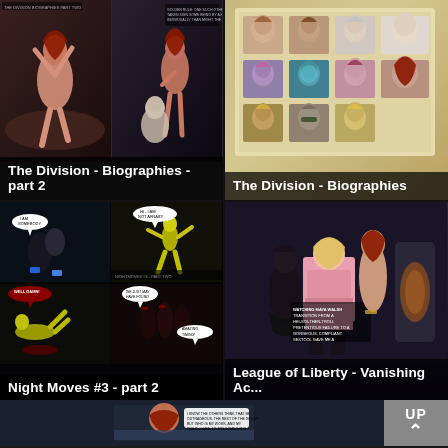[Figure (illustration): 3D rendered comic thumbnails for 'The Division - Biographies - part 2' showing animated female figures in two panels]
The Division - Biographies - part 2
[Figure (illustration): Grid of 3D character headshots/portraits for 'The Division - Biographies']
The Division - Biographies
[Figure (illustration): Comic panels for 'Night Moves #3 - part 2' showing action scenes with yellow-suited figure]
Night Moves #3 - part 2
[Figure (illustration): 3D rendered scene for 'League of Liberty - Vanishing Ac...' showing multiple female figures]
League of Liberty - Vanishing Ac...
[Figure (screenshot): Partial thumbnail at bottom with UP navigation button]